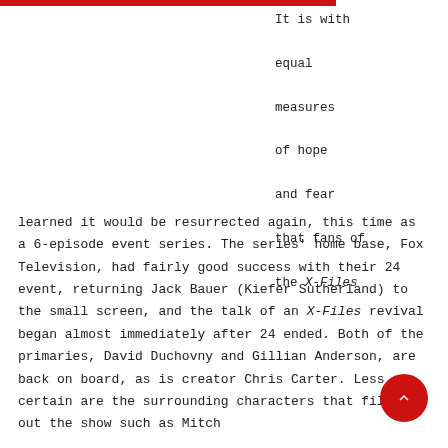It is with equal measures of hope and fear that fans of the X-Files learned it would be resurrected again, this time as a 6-episode event series. The series' home base, Fox Television, had fairly good success with their 24 event, returning Jack Bauer (Kiefer Sutherland) to the small screen, and the talk of an X-Files revival began almost immediately after 24 ended. Both of the primaries, David Duchovny and Gillian Anderson, are back on board, as is creator Chris Carter. Less certain are the surrounding characters that filled out the show such as Mitch